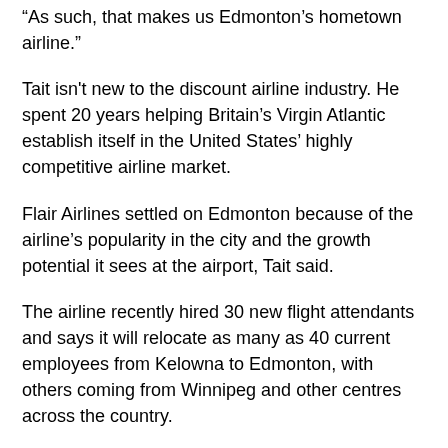“As such, that makes us Edmonton’s hometown airline.”
Tait isn't new to the discount airline industry. He spent 20 years helping Britain’s Virgin Atlantic establish itself in the United States’ highly competitive airline market.
Flair Airlines settled on Edmonton because of the airline’s popularity in the city and the growth potential it sees at the airport, Tait said.
The airline recently hired 30 new flight attendants and says it will relocate as many as 40 current employees from Kelowna to Edmonton, with others coming from Winnipeg and other centres across the country.
California dreaming